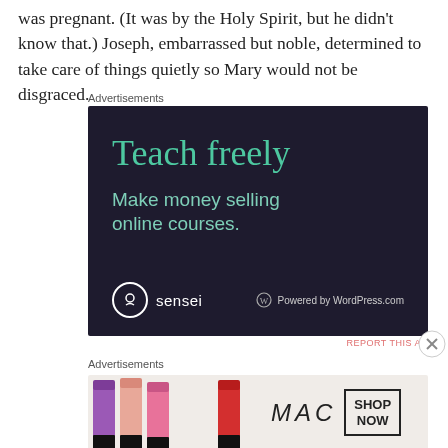was pregnant. (It was by the Holy Spirit, but he didn't know that.) Joseph, embarrassed but noble, determined to take care of things quietly so Mary would not be disgraced.
Advertisements
[Figure (screenshot): Advertisement for Sensei by WordPress.com showing dark navy background with teal text 'Teach freely' and subtext 'Make money selling online courses.' with Sensei and Powered by WordPress.com logos at bottom.]
Advertisements
[Figure (screenshot): MAC cosmetics advertisement showing colorful lipsticks on left side, MAC logo in italic script in center, and a 'SHOP NOW' box on the right.]